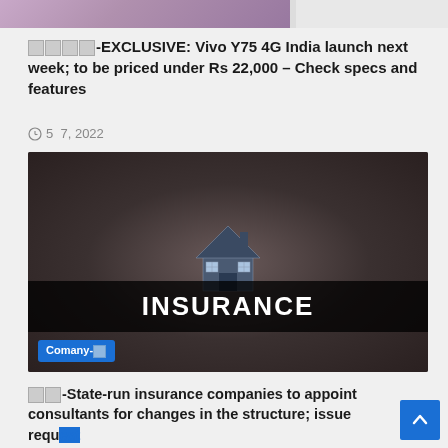[Figure (photo): Top cropped image strip showing partial colorful image on left and white space on right]
🟥🟥🟥🟥-EXCLUSIVE: Vivo Y75 4G India launch next week; to be priced under Rs 22,000 – Check specs and features
🕐5  7, 2022
[Figure (photo): Insurance photo showing two hands cupped around a small house model with 'INSURANCE' text banner and 'Comany-🟥' badge]
🟥🟥-State-run insurance companies to appoint consultants for changes in the structure; issue request for proposal